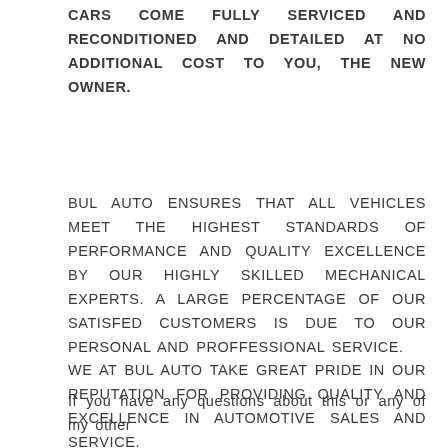CARS COME FULLY SERVICED AND RECONDITIONED AND DETAILED AT NO ADDITIONAL COST TO YOU, THE NEW OWNER.
BUL AUTO ENSURES THAT ALL VEHICLES MEET THE HIGHEST STANDARDS OF PERFORMANCE AND QUALITY EXCELLENCE BY OUR HIGHLY SKILLED MECHANICAL EXPERTS. A LARGE PERCENTAGE OF OUR SATISFED CUSTOMERS IS DUE TO OUR PERSONAL AND PROFFESSIONAL SERVICE. WE AT BUL AUTO TAKE GREAT PRIDE IN OUR REPUTATION FOR PROVIDING QUALITY AND EXCELLENCE IN AUTOMOTIVE SALES AND SERVICE.
If you have any questions about this or any of my other